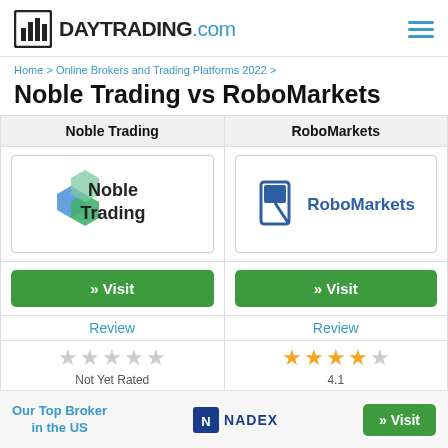DAYTRADING.COM
Home > Online Brokers and Trading Platforms 2022 >
Noble Trading vs RoboMarkets
| Noble Trading | RoboMarkets |
| --- | --- |
| [Noble Trading logo] | [RoboMarkets logo] |
| » Visit | » Visit |
| Review | Review |
| ★★★★★ Not Yet Rated | ★★★★☆ 4.1 |
Our Top Broker in the US  NADEX  » Visit